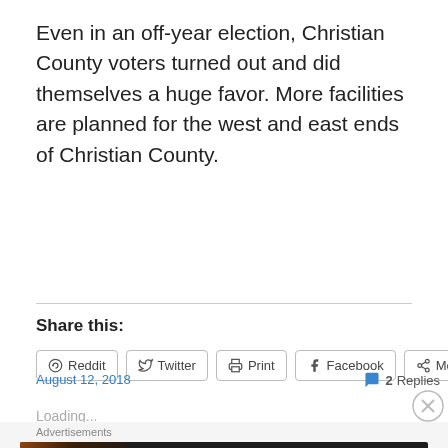Even in an off-year election, Christian County voters turned out and did themselves a huge favor. More facilities are planned for the west and east ends of Christian County.
Share this:
Reddit  Twitter  Print  Facebook  More
Loading...
August 12, 2018
2 Replies
Advertisements
[Figure (photo): Seamless pizza advertisement banner with ORDER NOW button]